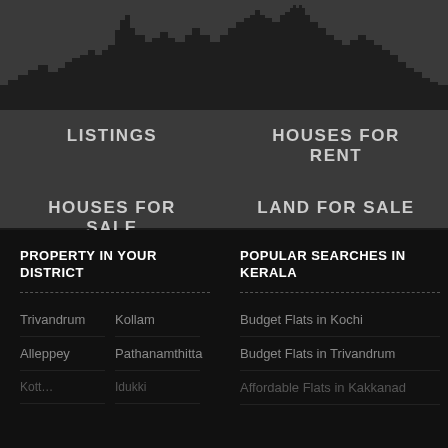[Figure (illustration): City skyline silhouette in dark gray/black on lighter gray background]
LISTINGS
HOUSES FOR RENT
HOUSES FOR SALE
LAND FOR SALE
PROPERTY IN YOUR DISTRICT
POPULAR SEARCHES IN KERALA
Trivandrum
Kollam
Budget Flats in Kochi
Alleppey
Pathanamthitta
Budget Flats in Trivandrum
Affordable Flats in Kakkanad